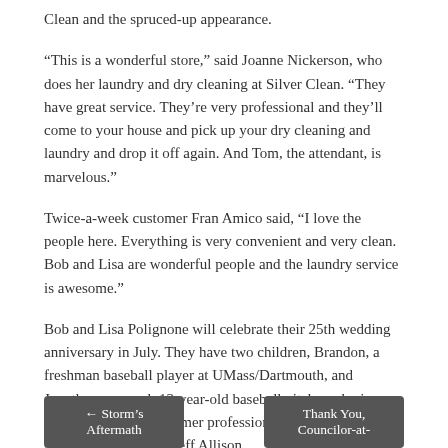Clean and the spruced-up appearance.
“This is a wonderful store,” said Joanne Nickerson, who does her laundry and dry cleaning at Silver Clean. “They have great service. They’re very professional and they’ll come to your house and pick up your dry cleaning and laundry and drop it off again. And Tom, the attendant, is marvelous.”
Twice-a-week customer Fran Amico said, “I love the people here. Everything is very convenient and very clean. Bob and Lisa are wonderful people and the laundry service is awesome.”
Bob and Lisa Polignone will celebrate their 25th wedding anniversary in July. They have two children, Brandon, a freshman baseball player at UMass/Dartmouth, and Jonathan, a superb 13-year-old baseball pitcher who is being instructed by former professional baseball players Steve Lomasney and Jeff Allison.
← Storm’s Aftermath
Thank You, Councilor-at-